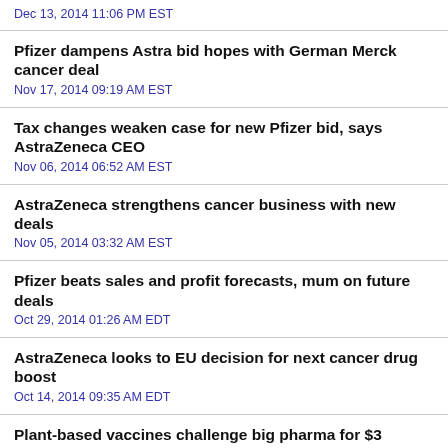Dec 13, 2014 11:06 PM EST
Pfizer dampens Astra bid hopes with German Merck cancer deal
Nov 17, 2014 09:19 AM EST
Tax changes weaken case for new Pfizer bid, says AstraZeneca CEO
Nov 06, 2014 06:52 AM EST
AstraZeneca strengthens cancer business with new deals
Nov 05, 2014 03:32 AM EST
Pfizer beats sales and profit forecasts, mum on future deals
Oct 29, 2014 01:26 AM EDT
AstraZeneca looks to EU decision for next cancer drug boost
Oct 14, 2014 09:35 AM EDT
Plant-based vaccines challenge big pharma for $3